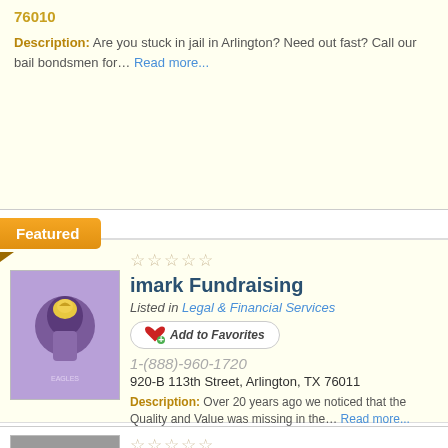76010
Description: Are you stuck in jail in Arlington? Need out fast? Call our bail bondsmen for… Read more...
Featured
[Figure (photo): Product image for imark Fundraising - purple candle jar with eagle logo]
imark Fundraising
Listed in Legal & Financial Services
Add to Favorites
1-(888)-960-1720
920-B 113th Street, Arlington, TX 76011
Description: Over 20 years ago we noticed that the Quality and Value was missing in the… Read more...
[Figure (photo): Two men in suits standing outside - Greene Law Firm]
Greene Law Firm P C
Listed in Law Firms, Legal &